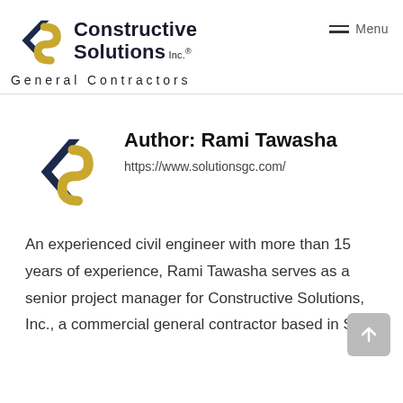[Figure (logo): Constructive Solutions Inc. logo with chevron-S mark and brand name text]
General Contractors
Author: Rami Tawasha
[Figure (logo): Constructive Solutions Inc. smaller logo mark used as author avatar]
https://www.solutionsgc.com/
An experienced civil engineer with more than 15 years of experience, Rami Tawasha serves as a senior project manager for Constructive Solutions, Inc., a commercial general contractor based in San